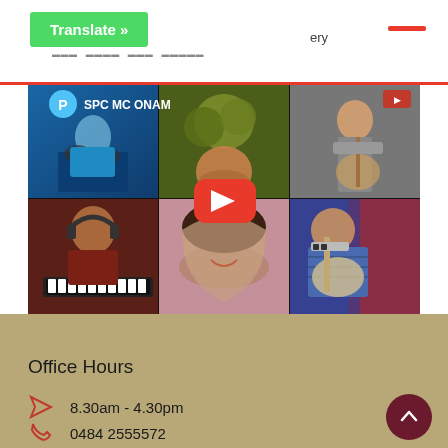Translate » ...ery
[Figure (screenshot): YouTube video thumbnail for SPC MC ONAM showing a collage of students playing musical instruments including drums, keyboard, and guitar, with a YouTube play button overlay in the center]
Office Hours
8.30am - 4.30pm
0484 2555572
office@stpauls.ac.in